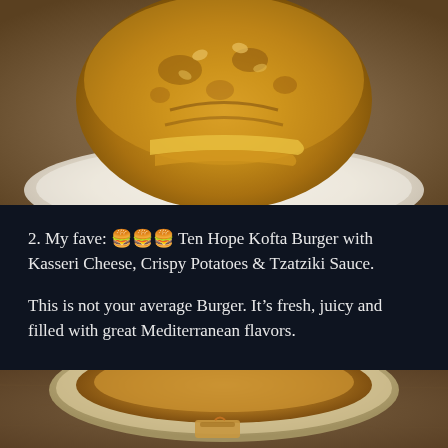[Figure (photo): Close-up photo of a Kofta Burger with golden-brown bun on a white plate, viewed from above, partially cropped]
2. My fave: 🍔🍔🍔 Ten Hope Kofta Burger with Kasseri Cheese, Crispy Potatoes & Tzatziki Sauce.

This is not your average Burger. It's fresh, juicy and filled with great Mediterranean flavors.
[Figure (photo): Close-up photo of a ceramic bowl with food, viewed from above, partially cropped at bottom of page]